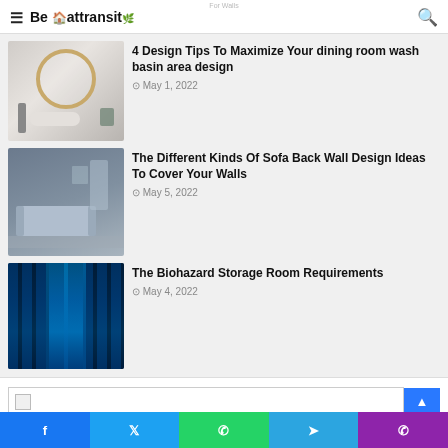Be attransit
4 Design Tips To Maximize Your dining room wash basin area design
May 1, 2022
The Different Kinds Of Sofa Back Wall Design Ideas To Cover Your Walls
May 5, 2022
The Biohazard Storage Room Requirements
May 4, 2022